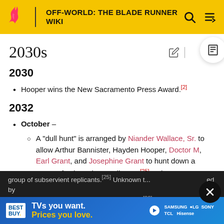OFF-WORLD: THE BLADE RUNNER WIKI
2030s
2030
Hooper wins the New Sacramento Press Award.[2]
2032
October –
A "dull hunt" is arranged by Niander Wallace, Sr. to allow Arthur Bannister, Hayden Hooper, Doctor M, Earl Grant, and Josephine Grant to hunt down a group of subservient replicants.[25] Unknown t... ...ed by ...er.[26]
[Figure (screenshot): Best Buy advertisement banner: 'TVs you want. Prices you love.' with Samsung, LG, Sony, TCL, Hisense brand logos on blue gradient background]